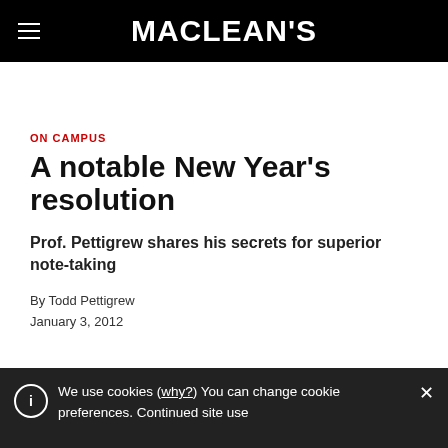MACLEAN'S
ON CAMPUS
A notable New Year's resolution
Prof. Pettigrew shares his secrets for superior note-taking
By Todd Pettigrew
January 3, 2012
We use cookies (why?) You can change cookie preferences. Continued site use